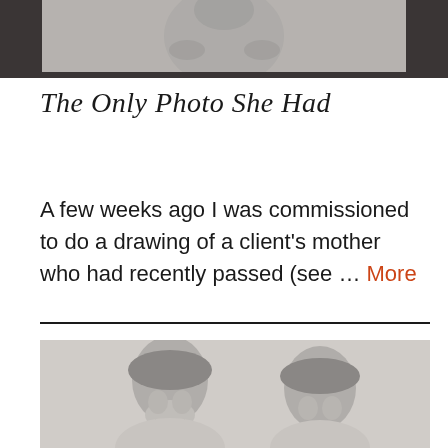[Figure (photo): Black and white pencil drawing of a person, partially visible, dark framed, top of page]
The Only Photo She Had
A few weeks ago I was commissioned to do a drawing of a client's mother who had recently passed (see … More
[Figure (photo): Black and white pencil drawing of two young boys smiling, portrait style]